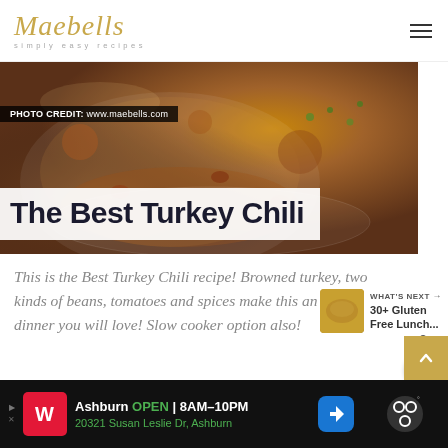Maebells simply easy recipes
[Figure (photo): Food photo showing turkey chili in a bowl with beans, tomatoes, green onions toppings. Photo credit: www.maebells.com]
The Best Turkey Chili
This is the Best Turkey Chili recipe! Browned turkey, two kinds of beans, tomatoes and spices make this an easy dinner you will love! Slow cooker option also!
WHAT'S NEXT → 30+ Gluten Free Lunch...
Ashburn OPEN | 8AM–10PM 20321 Susan Leslie Dr, Ashburn